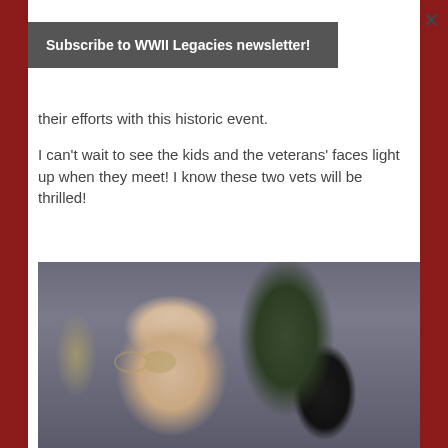×
Subscribe to WWII Legacies newsletter!
their efforts with this historic event.
I can't wait to see the kids and the veterans' faces light up when they meet! I know these two vets will be thrilled!
[Figure (photo): Elderly woman with white hair and large round glasses, smiling, with a plant and framed picture visible in the background]